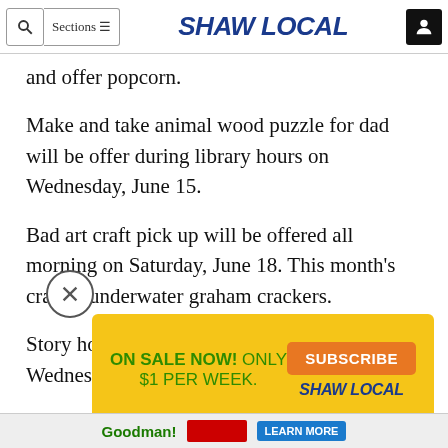Shaw Local
and offer popcorn.
Make and take animal wood puzzle for dad will be offer during library hours on Wednesday, June 15.
Bad art craft pick up will be offered all morning on Saturday, June 18. This month’s craft is underwater graham crackers.
Story hour will be offered at 4 p.m. on the first Wednesday of the month.
[Figure (screenshot): Advertisement banner: ON SALE NOW! ONLY $1 PER WEEK. SUBSCRIBE button. SHAW LOCAL logo. With a close (X) button and a Goodman strip at the bottom.]